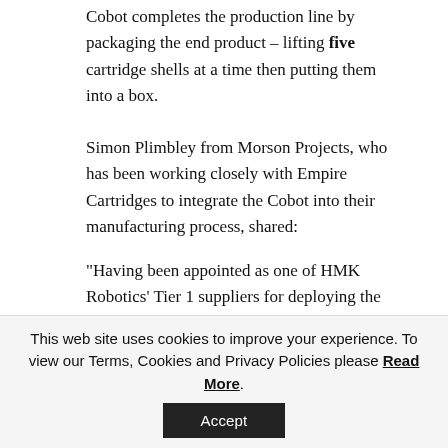Cobot completes the production line by packaging the end product – lifting five cartridge shells at a time then putting them into a box.
Simon Plimbley from Morson Projects, who has been working closely with Empire Cartridges to integrate the Cobot into their manufacturing process, shared:
"Having been appointed as one of HMK Robotics' Tier 1 suppliers for deploying the Techman TM5, it has been great to see our first Cobot in action, especially under the current circumstances.
"The support we have received from HMK, the
This web site uses cookies to improve your experience. To view our Terms, Cookies and Privacy Policies please Read More.